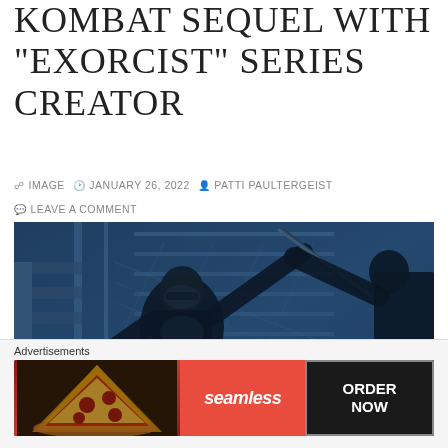KOMBAT SEQUEL WITH "EXORCIST" SERIES CREATOR
IMAGE  JANUARY 26, 2022  PATTI PAULTERGEIST  LEAVE A COMMENT
[Figure (photo): Dark action movie still showing a masked ninja-like figure in black armor in a blue-tinted scene, fighting with weapons against an icy industrial background]
Advertisements
[Figure (screenshot): Seamless food delivery advertisement showing pizza on the left, red Seamless logo in the middle, and ORDER NOW button on the right]